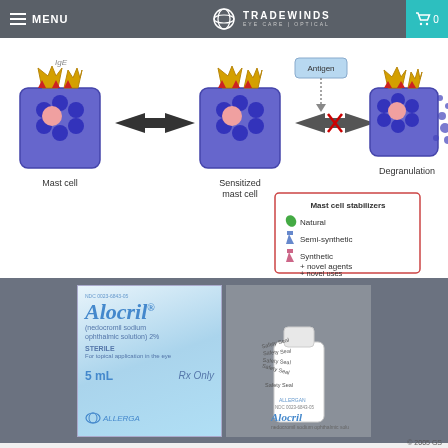MENU | TRADEWINDS EYE CARE | OPTICAL
[Figure (infographic): Diagram showing mast cell sensitization and degranulation process, with a legend box showing Mast cell stabilizers (Natural, Semi-synthetic, Synthetic, novel agents, novel uses). Steps: Mast cell → Sensitized mast cell → (blocked by mast cell stabilizers) → Degranulation.]
[Figure (photo): Product photo of Alocril (nedocromil sodium ophthalmic solution) 2%, 5 mL Rx Only, by Allergan — showing the box and bottle with safety seals.]
© 2005 GS